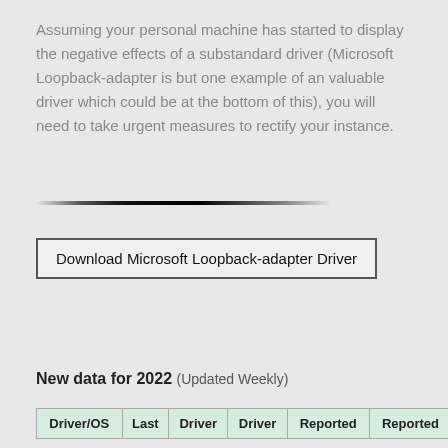Assuming your personal machine has started to display the negative effects of a substandard driver (Microsoft Loopback-adapter is but one example of an valuable driver which could be at the bottom of this), you will need to take urgent measures to rectify your instance.
[Figure (other): A horizontal divider line with gradient shading from transparent to black to transparent]
Download Microsoft Loopback-adapter Driver
New data for 2022 (Updated Weekly)
| Driver/OS | Last | Driver | Driver | Reported | Reported |
| --- | --- | --- | --- | --- | --- |